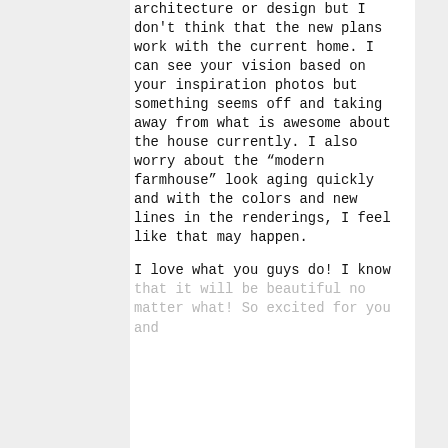architecture or design but I don't think that the new plans work with the current home. I can see your vision based on your inspiration photos but something seems off and taking away from what is awesome about the house currently. I also worry about the “modern farmhouse” look aging quickly and with the colors and new lines in the renderings, I feel like that may happen.

I love what you guys do! I know that it will be beautiful no matter what! So excited for you and